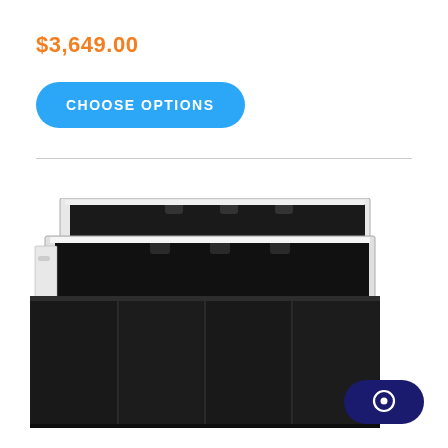$3,649.00
CHOOSE OPTIONS
[Figure (photo): Product photo showing stacked aquarium tank systems with black cabinetry and white/silver trim, displayed at an angle]